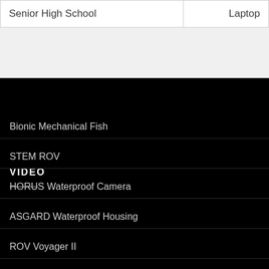| Senior High School | Laptop |
VIDEO
Bionic Mechanical Fish
STEM ROV
HORUS Waterproof Camera
ASGARD Waterproof Housing
ROV Voyager II
ROV Voyager I